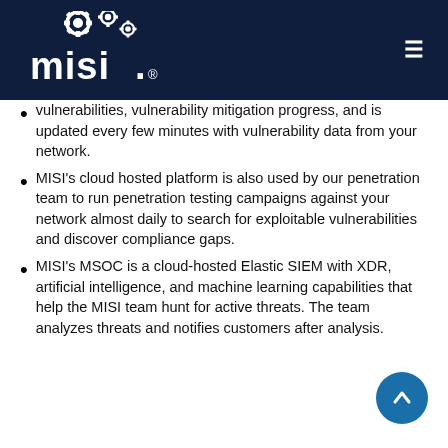[Figure (logo): MISI logo with gear icons on dark navy background header with hamburger menu icon on right]
vulnerabilities, vulnerability mitigation progress, and is updated every few minutes with vulnerability data from your network.
MISI's cloud hosted platform is also used by our penetration team to run penetration testing campaigns against your network almost daily to search for exploitable vulnerabilities and discover compliance gaps.
MISI's MSOC is a cloud-hosted Elastic SIEM with XDR, artificial intelligence, and machine learning capabilities that help the MISI team hunt for active threats. The team analyzes threats and notifies customers after analysis.